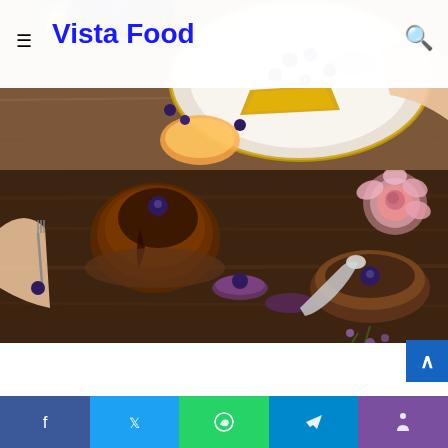Vista Food
[Figure (photo): Overhead view of food spread including blueberries, kiwi, pancakes and flowers on a wooden table]
[Figure (photo): Close-up overhead shot of chocolate desserts with blueberries, flowers, and spoons on a dark wooden table]
Clodagh McKenna
That is McKenna’s go-to dessert when she has little or no time to make something however nonetheless needs to offer everybody a deal with. These take simply quarter-hour to arrange and quarter-hour to relax, and you may make them a day forward.
[Figure (photo): Bottom portion of a food photograph, dark background]
Social share bar: Facebook, Twitter, WhatsApp, Telegram, Phone